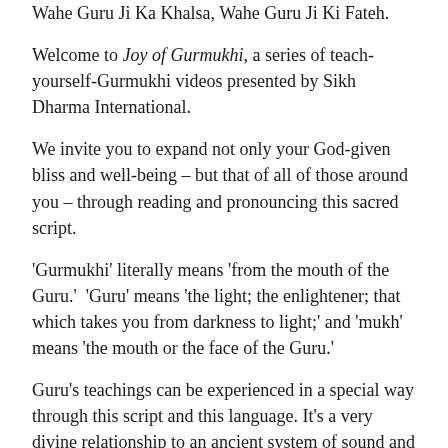Wahe Guru Ji Ka Khalsa, Wahe Guru Ji Ki Fateh.
Welcome to Joy of Gurmukhi, a series of teach-yourself-Gurmukhi videos presented by Sikh Dharma International.
We invite you to expand not only your God-given bliss and well-being – but that of all of those around you – through reading and pronouncing this sacred script.
'Gurmukhi' literally means 'from the mouth of the Guru.'  'Guru' means 'the light; the enlightener; that which takes you from darkness to light;' and 'mukh' means 'the mouth or the face of the Guru.'
Guru's teachings can be experienced in a special way through this script and this language. It's a very divine relationship to an ancient system of sound and elevation; it's immediately uplifting.
This video course is one of many ways to learn pronunciation and recitation of Gurmukhi. We encourage you to find tools that work for you on your